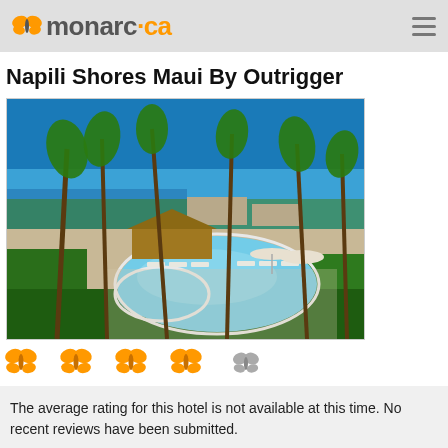monarc.ca
Napili Shores Maui By Outrigger
[Figure (photo): Aerial view of Napili Shores Maui resort showing a large kidney-shaped swimming pool surrounded by lounge chairs, thatched-roof bar/gazebo structure, umbrella tables, ocean in the background, and lush tropical palm trees and vegetation throughout.]
[Figure (infographic): Rating display: four orange butterfly icons followed by one grey butterfly icon, representing approximately 4 out of 5 rating.]
The average rating for this hotel is not available at this time. No recent reviews have been submitted.